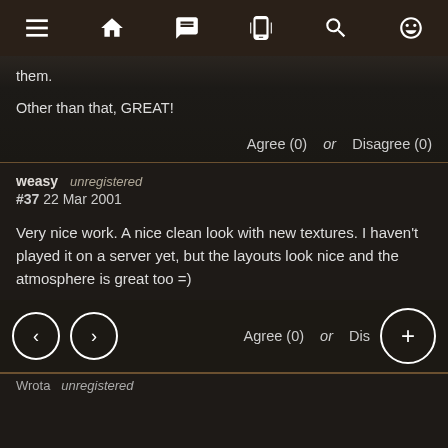[Figure (screenshot): Navigation bar with icons: hamburger menu, home, chat, phone vibrate, search, smiley face]
them.
Other than that, GREAT!
Agree (0) or Disagree (0)
weasy   unregistered
#37  22 Mar 2001
Very nice work. A nice clean look with new textures. I haven't played it on a server yet, but the layouts look nice and the atmosphere is great too =)
Agree (0) or Dis[agree (0)]
Wrota   unregistered